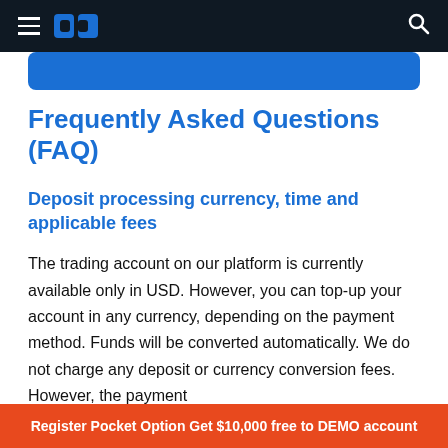Navigation bar with hamburger menu, Pocket Option logo, and search icon
[Figure (other): Blue rounded CTA button/banner partially visible at top]
Frequently Asked Questions (FAQ)
Deposit processing currency, time and applicable fees
The trading account on our platform is currently available only in USD. However, you can top-up your account in any currency, depending on the payment method. Funds will be converted automatically. We do not charge any deposit or currency conversion fees. However, the payment
Register Pocket Option Get $10,000 free to DEMO account